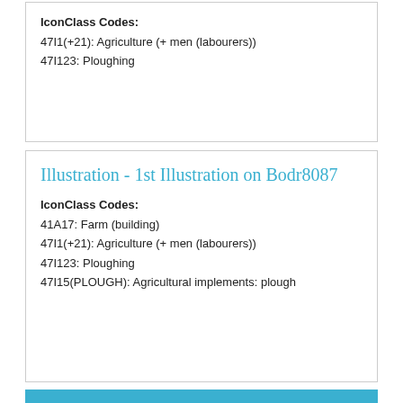IconClass Codes:
47I1(+21): Agriculture (+ men (labourers))
47I123: Ploughing
Illustration - 1st Illustration on Bodr8087
IconClass Codes:
41A17: Farm (building)
47I1(+21): Agriculture (+ men (labourers))
47I123: Ploughing
47I15(PLOUGH): Agricultural implements: plough
32 results found Page 1 of 2  Next>>
Bodleian Libraries | University of Oxford | Cookies